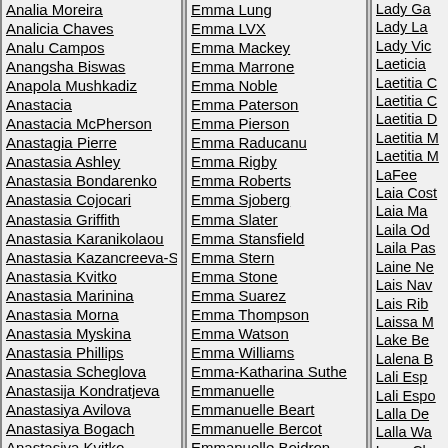Analia Moreira
Analicia Chaves
Analu Campos
Anangsha Biswas
Anapola Mushkadiz
Anastacia
Anastacia McPherson
Anastagia Pierre
Anastasia Ashley
Anastasia Bondarenko
Anastasia Cojocari
Anastasia Griffith
Anastasia Karanikolaou
Anastasia Kazancreeva-Stepanova
Anastasia Kvitko
Anastasia Marinina
Anastasia Morna
Anastasia Myskina
Anastasia Phillips
Anastasia Scheglova
Anastasija Kondratjeva
Anastasiya Avilova
Anastasiya Bogach
Anastasiya Kvitko
Anastasiya Meskova
Anastasiya Scheglova
Anastasiya Shcheglova
Anastasiya Slanevskaya
Anastasija Makeenka
Emma Lung
Emma LVX
Emma Mackey
Emma Marrone
Emma Noble
Emma Paterson
Emma Pierson
Emma Raducanu
Emma Rigby
Emma Roberts
Emma Sjoberg
Emma Slater
Emma Stansfield
Emma Stern
Emma Stone
Emma Suarez
Emma Thompson
Emma Watson
Emma Williams
Emma-Katharina Suthe
Emmanuelle
Emmanuelle Beart
Emmanuelle Bercot
Emmanuelle Boidron
Emmanuelle Chriqui
Emmanuelle Devos
Emmanuelle Escourrou
Emmanuelle Seigner
Emmanuelle Vaugier
Lady Ga
Lady La
Lady Vic
Laeticia
Laetitia C
Laetitia C
Laetitia D
Laetitia M
Laetitia M
LaFee
Laia Cost
Laia Ma
Laila Od
Laila Pas
Laine Ne
Lais Nav
Lais Rib
Laissa M
Lake Be
Lalena B
Lali Esp
Lali Espo
Lalla De
Lalla Wa
Lana Cla
Lana De
Lana Par
Lana Su